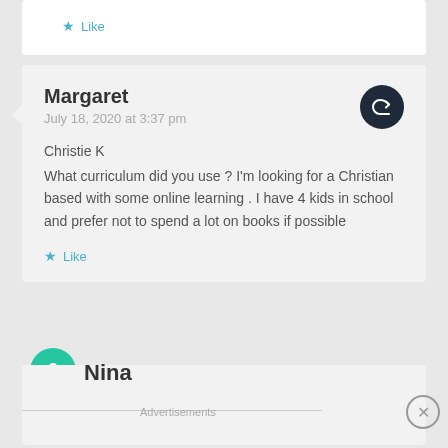Like
Margaret
July 18, 2020 at 3:37 pm

Christie K
What curriculum did you use ? I'm looking for a Christian based with some online learning . I have 4 kids in school and prefer not to spend a lot on books if possible
Like
Nina
Advertisements